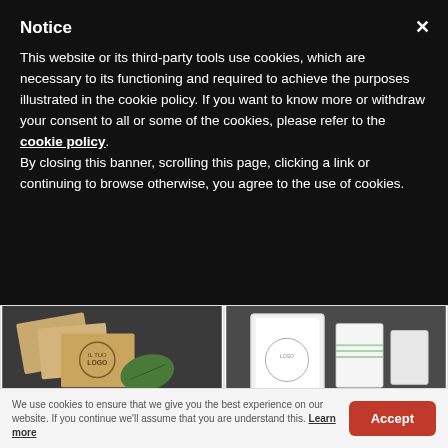Notice
This website or its third-party tools use cookies, which are necessary to its functioning and required to achieve the purposes illustrated in the cookie policy. If you want to know more or withdraw your consent to all or some of the cookies, please refer to the cookie policy.
By closing this banner, scrolling this page, clicking a link or continuing to browse otherwise, you agree to the use of cookies.
[Figure (photo): Product photo grid showing packaging: top-left: kraft paper bags with 'IL TUO LOGO' branding and a green leaf; top-right: white paper sachets/envelopes with logo; bottom-left: small tea or herb sachets on light surface; bottom-right: colorful rolled packaging and kraft box]
We use cookies to ensure that we give you the best experience on our website. If you continue we'll assume that you are understand this. Learn more